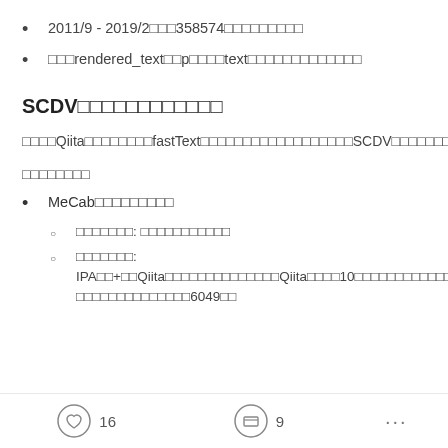2011/9 - 2019/2□□□358574□□□□□□□□□
□□□rendered_text□□p□□□□text□□□□□□□□□□□□□
SCDV□□□□□□□□□□□□
□□□□Qiita□□□□□□□□fastText□□□□□□□□□□□□□□□□□□SCDV□□□□□□□□□□□□□□□
□□□□□□□□
MeCab□□□□□□□□□
□□□□□□□: □□□□□□□□□□□
□□□□□□□: IPA□□+□□Qiita□□□□□□□□□□□□□□Qiita□□□□10□□□□□□□□□□□□□□□□□□□□□□□□□□□□□□6049□□
16  9  ...